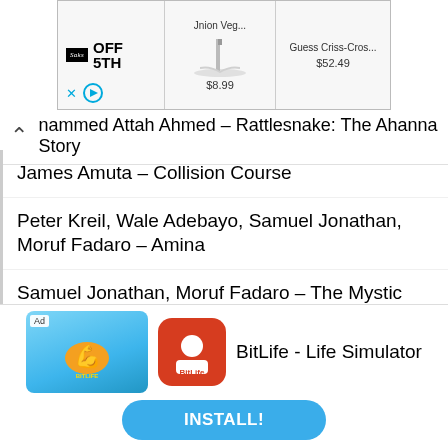[Figure (screenshot): Advertisement banner for Saks OFF 5TH showing a shoe product labeled 'Jnion Veg... $8.99' and 'Guess Criss-Cros... $52.49']
nammed Attah Ahmed – Rattlesnake: The Ahanna Story
James Amuta – Collision Course
Peter Kreil, Wale Adebayo, Samuel Jonathan, Moruf Fadaro – Amina
Samuel Jonathan, Moruf Fadaro – The Mystic River
John Njaga Demps – Nneka The Pretty Serpent
Victoria Mbogo – Just in Time
[Figure (screenshot): Advertisement for BitLife - Life Simulator app showing app icon and INSTALL button]